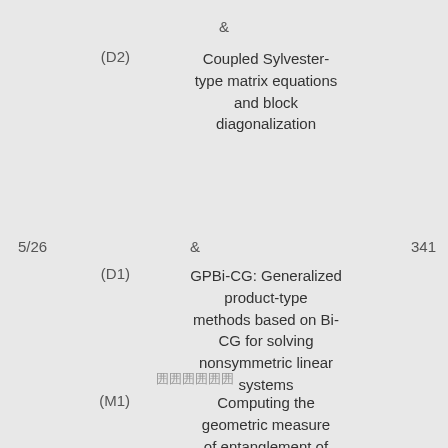&
(D2) Coupled Sylvester-type matrix equations and block diagonalization
5/26
341
&
(D1) GPBi-CG: Generalized product-type methods based on Bi-CG for solving nonsymmetric linear systems
囲囲囲囲囲囲
(M1) Computing the geometric measure of entanglement of